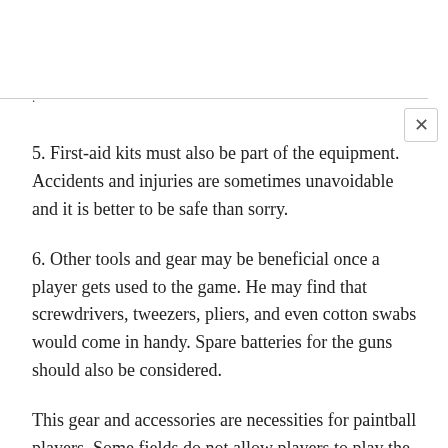5. First-aid kits must also be part of the equipment. Accidents and injuries are sometimes unavoidable and it is better to be safe than sorry.
6. Other tools and gear may be beneficial once a player gets used to the game. He may find that screwdrivers, tweezers, pliers, and even cotton swabs would come in handy. Spare batteries for the guns should also be considered.
This gear and accessories are necessities for paintball players. Some fields do not allow players to play the game if they are not wearing the proper clothing, shoes, etc. Players must always consider their own safety as